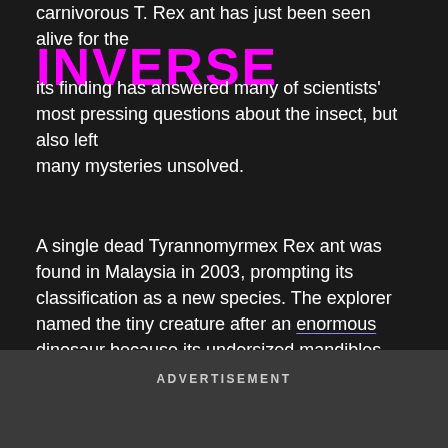carnivorous T. Rex ant has just been seen alive for the
INVERSE
its finding has answered many of scientists' most pressing questions about the insect, but also left many mysteries unsolved.
A single dead Tyrannomyrmex Rex ant was found in Malaysia in 2003, prompting its classification as a new species. The explorer named the tiny creature after an enormous dinosaur because its undersized mandibles reminded him of the arms of a T. Rex. Since then, other dead T. Rex ants have been seen in Singapore, India, Sri Lanka, and possibly the Philippines, all accidentally found in leaf litter.
ADVERTISEMENT